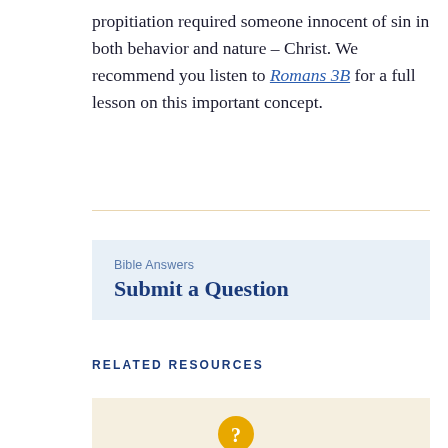propitiation required someone innocent of sin in both behavior and nature – Christ. We recommend you listen to Romans 3B for a full lesson on this important concept.
RELATED RESOURCES
[Figure (other): Bible Answers – Submit a Question call-to-action box with light blue background]
[Figure (other): Cream/beige colored resource card with a gold question mark circle icon]